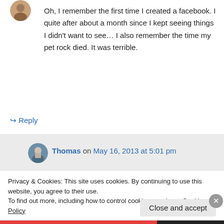Oh, I remember the first time I created a facebook. I quite after about a month since I kept seeing things I didn't want to see… I also remember the time my pet rock died. It was terrible.
↳ Reply
Thomas on May 16, 2013 at 5:01 pm
Privacy & Cookies: This site uses cookies. By continuing to use this website, you agree to their use.
To find out more, including how to control cookies, see here: Cookie Policy
Close and accept